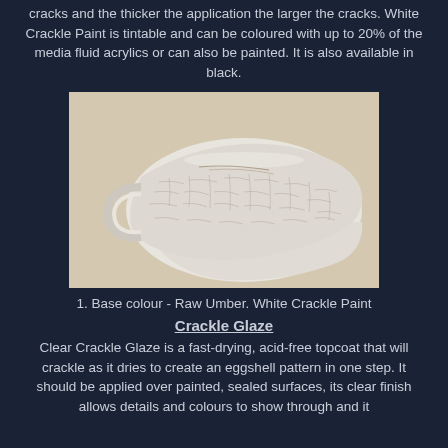application. To the thinner the paint is applied the smaller the cracks and the thicker the application the larger the cracks. White Crackle Paint is tintable and can be coloured with up to 20% of the media fluid acrylics or can also be painted. It is also available in black.
[Figure (photo): A ceramic or clay cup/bowl object completely covered in white crackle paint showing a fine mosaic-like crackle texture pattern throughout its surface, photographed on a light beige background.]
1. Base colour - Raw Umber. White Crackle Paint
Crackle Glaze
Clear Crackle Glaze is a fast-drying, acid-free topcoat that will crackle as it dries to create an eggshell pattern in one step. It should be applied over painted, sealed surfaces, its clear finish allows details and colours to show through and it